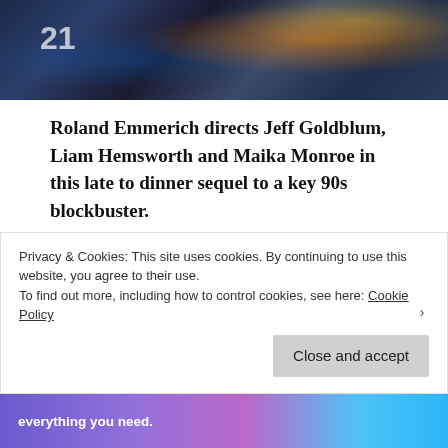[Figure (photo): A dark sci-fi movie still showing soldiers or figures in futuristic gear with orange fire/explosion in the background, with the number '21' visible on the left]
Roland Emmerich directs Jeff Goldblum, Liam Hemsworth and Maika Monroe in this late to dinner sequel to a key 90s blockbuster.
Imagine you've been invited over to someone's house for a beer and movie night and your
Privacy & Cookies: This site uses cookies. By continuing to use this website, you agree to their use.
To find out more, including how to control cookies, see here: Cookie Policy
Close and accept